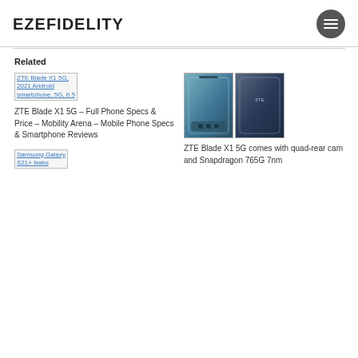EZEFIDELITY
Related
[Figure (screenshot): Broken image placeholder link for ZTE Blade X1 5G, 2021 Android smartphone, 5G, 6.5]
ZTE Blade X1 5G – Full Phone Specs & Price – Mobility Arena – Mobile Phone Specs & Smartphone Reviews
[Figure (photo): ZTE Blade X1 5G phone showing two views side by side]
ZTE Blade X1 5G comes with quad-rear cam and Snapdragon 765G 7nm
[Figure (screenshot): Broken image placeholder link for Samsung Galaxy S21+ leaks]